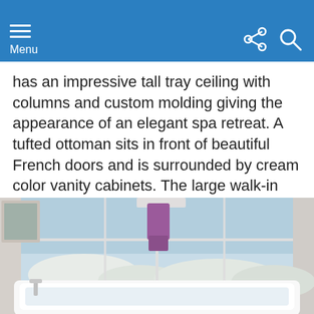Menu
has an impressive tall tray ceiling with columns and custom molding giving the appearance of an elegant spa retreat. A tufted ottoman sits in front of beautiful French doors and is surrounded by cream color vanity cabinets. The large walk-in shower and step-up-tub offer plenty of opportunities for relaxation and renewal.
[Figure (photo): A white freestanding bathtub in front of a large window overlooking a snowy outdoor scene, with a purple towel hanging on a rack above the tub.]